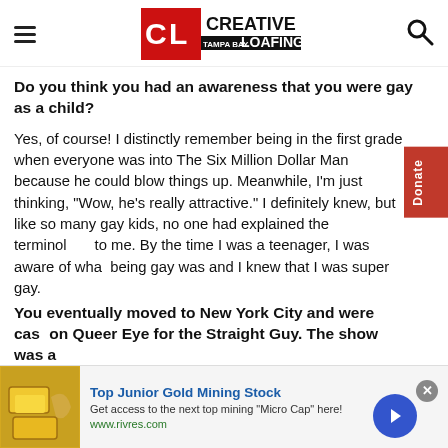Creative Loafing Tampa Bay
Do you think you had an awareness that you were gay as a child?
Yes, of course! I distinctly remember being in the first grade when everyone was into The Six Million Dollar Man because he could blow things up. Meanwhile, I'm just thinking, "Wow, he's really attractive." I definitely knew, but like so many gay kids, no one had explained the terminology to me. By the time I was a teenager, I was aware of what being gay was and I knew that I was super gay.
You eventually moved to New York City and were cast on Queer Eye for the Straight Guy. The show was a
[Figure (other): Advertisement banner for Top Junior Gold Mining Stock with gold bar image, text and arrow button. URL: www.rivres.com]